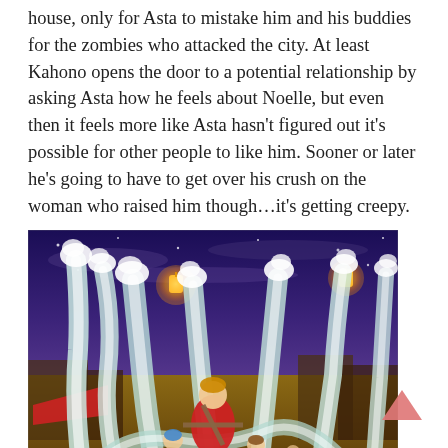house, only for Asta to mistake him and his buddies for the zombies who attacked the city. At least Kahono opens the door to a potential relationship by asking Asta how he feels about Noelle, but even then it feels more like Asta hasn't figured out it's possible for other people to like him. Sooner or later he's going to have to get over his crush on the woman who raised him though…it's getting creepy.
[Figure (photo): Anime screenshot from Black Clover showing characters surrounded by large white water/ice tentacles or pillars in a nighttime city setting with glowing lanterns in the background. A character in red clothing is visible in the center.]
3. I wouldn't have guessed, but it turns out Asta, Noelle, Kahono, and Kiato, make a great traveling